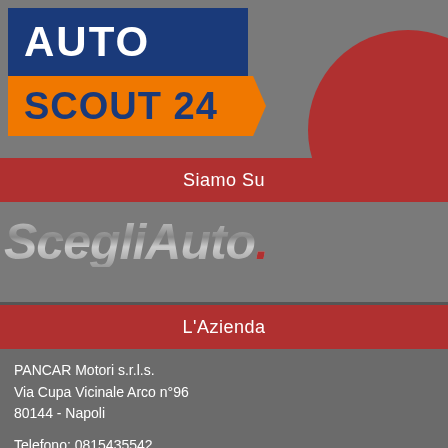[Figure (logo): AutoScout24 logo: 'AUTO' on dark blue background, 'SCOUT 24' on orange background with arrow shape]
Siamo Su
[Figure (logo): ScegliAuto logo in metallic italic style with red dot]
L'Azienda
PANCAR Motori s.r.l.s.
Via Cupa Vicinale Arco n°96
80144 - Napoli

Telefono: 0815435542
Cellulare: 346 5790486